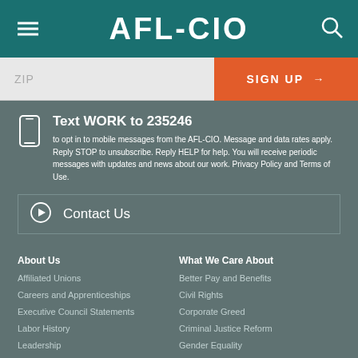AFL-CIO
ZIP
SIGN UP →
Text WORK to 235246
to opt in to mobile messages from the AFL-CIO. Message and data rates apply. Reply STOP to unsubscribe. Reply HELP for help. You will receive periodic messages with updates and news about our work. Privacy Policy and Terms of Use.
Contact Us
About Us
Affiliated Unions
Careers and Apprenticeships
Executive Council Statements
Labor History
Leadership
Our Unions and Allies
Programs
What We Care About
Better Pay and Benefits
Civil Rights
Corporate Greed
Criminal Justice Reform
Gender Equality
Global Worker Rights
Health Care